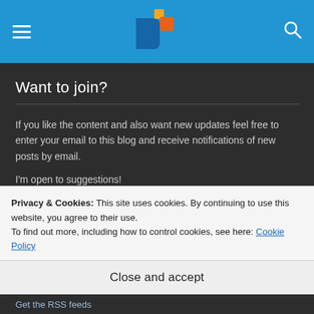[Figure (logo): Website header with blue background, hamburger menu on left, logo (orange squares on blue 'D' shape) in center, search icon on right]
Want to join?
If you like the content and also want new updates feel free to enter your email to this blog and receive notifications of new posts by email.
I'm open to suggestions!
Email Address
SUBSCRIBE
Privacy & Cookies: This site uses cookies. By continuing to use this website, you agree to their use.
To find out more, including how to control cookies, see here: Cookie Policy
Close and accept
Get the RSS feeds